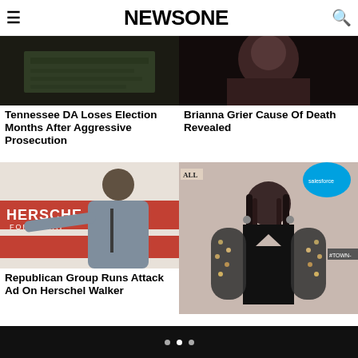NEWSONE
[Figure (photo): Dark image showing a green historical marker or plaque on a surface]
Tennessee DA Loses Election Months After Aggressive Prosecution
[Figure (photo): Close-up of a woman's face, dark background]
Brianna Grier Cause Of Death Revealed
[Figure (photo): Herschel Walker at a campaign podium with 'HERSCHEL FOR SENATE' banner in red]
Republican Group Runs Attack Ad On Herschel Walker
[Figure (photo): Woman in black cutout dress at an event with Salesforce and #TOWN branding in background]